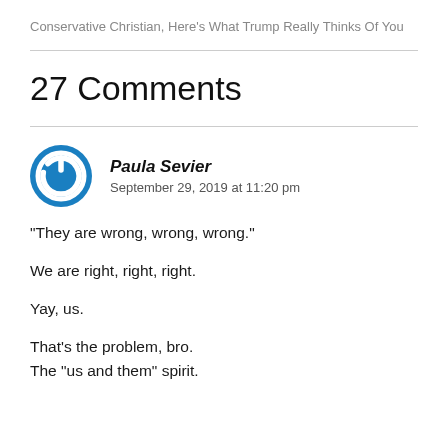Conservative Christian, Here's What Trump Really Thinks Of You
27 Comments
Paula Sevier
September 29, 2019 at 11:20 pm
“They are wrong, wrong, wrong.”

We are right, right, right.

Yay, us.

That’s the problem, bro.
The “us and them” spirit.